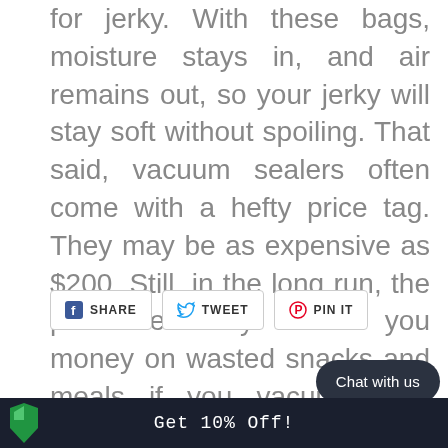for jerky. With these bags, moisture stays in, and air remains out, so your jerky will stay soft without spoiling. That said, vacuum sealers often come with a hefty price tag. They may be as expensive as $200. Still, in the long run, the purchase may save you money on wasted snacks and meals if you vacuum seal jerky and other food that would otherwise spoil.
[Figure (other): Social share buttons: Facebook SHARE, Twitter TWEET, Pinterest PIN IT]
[Figure (other): Chat with us button (dark rounded pill shape)]
Get 10% Off!